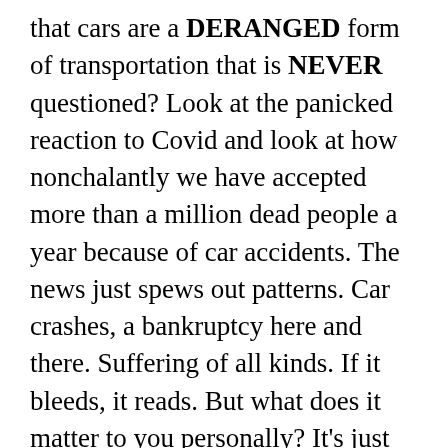that cars are a DERANGED form of transportation that is NEVER questioned? Look at the panicked reaction to Covid and look at how nonchalantly we have accepted more than a million dead people a year because of car accidents. The news just spews out patterns. Car crashes, a bankruptcy here and there. Suffering of all kinds. If it bleeds, it reads. But what does it matter to you personally? It's just taking up brain space you could be using to actually improve your own life and that of loved ones. Even worse, maybe you are paying for this daily bombardment with irrelevance!! It's always stupid to pay for mainstream news, because the rich, governments and corporations WANT YOU to